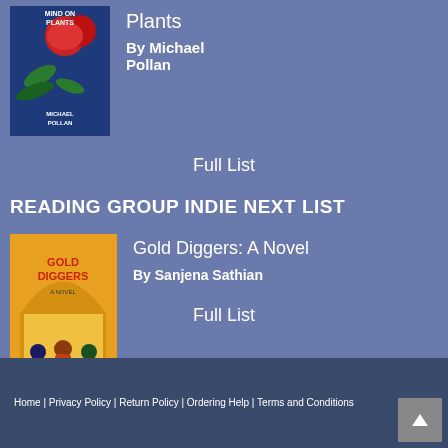[Figure (illustration): Book cover of 'This Is Your Mind on Plants' by Michael Pollan — dark blue background with red poppy flowers and green plant leaves]
Plants
By Michael Pollan
Full List
READING GROUP INDIE NEXT LIST
[Figure (illustration): Book cover of 'Gold Diggers: A Novel' by Sanjena Sathian — yellow background with three figures sitting with their backs turned, ornate archway above]
Gold Diggers: A Novel
By Sanjena Sathian
Full List
Home | Privacy Policy | Return Policy | Ordering Help | Terms and Conditions